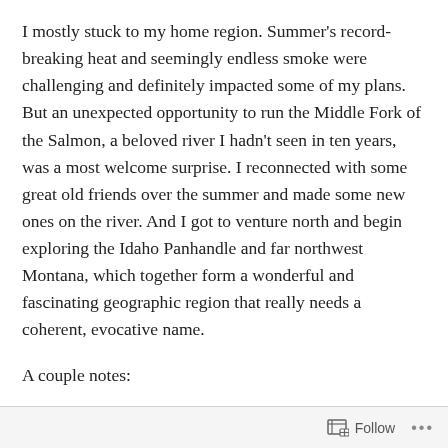I mostly stuck to my home region. Summer's record-breaking heat and seemingly endless smoke were challenging and definitely impacted some of my plans. But an unexpected opportunity to run the Middle Fork of the Salmon, a beloved river I hadn't seen in ten years, was a most welcome surprise. I reconnected with some great old friends over the summer and made some new ones on the river. And I got to venture north and begin exploring the Idaho Panhandle and far northwest Montana, which together form a wonderful and fascinating geographic region that really needs a coherent, evocative name.
A couple notes:
Calendars – thank you everyone who bought one!
Follow ···